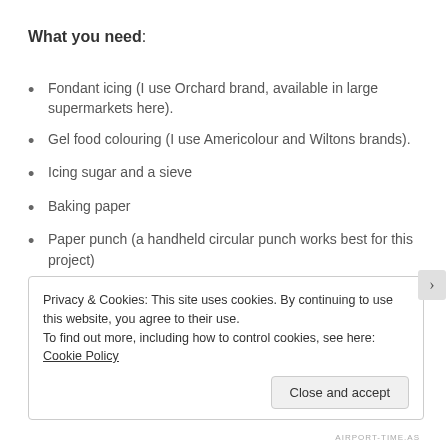What you need:
Fondant icing (I use Orchard brand, available in large supermarkets here).
Gel food colouring (I use Americolour and Wiltons brands).
Icing sugar and a sieve
Baking paper
Paper punch (a handheld circular punch works best for this project)
Rolling pin
Cake cooling rack (good but not essential).
Privacy & Cookies: This site uses cookies. By continuing to use this website, you agree to their use.
To find out more, including how to control cookies, see here: Cookie Policy
Close and accept
AIRPORT-TIME.AS